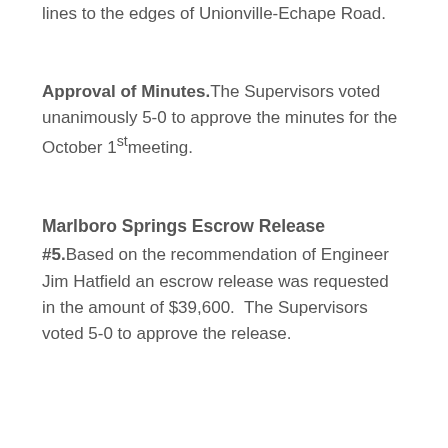lines to the edges of Unionville-Echape Road.
Approval of Minutes. The Supervisors voted unanimously 5-0 to approve the minutes for the October 1st meeting.
Marlboro Springs Escrow Release #5. Based on the recommendation of Engineer Jim Hatfield an escrow release was requested in the amount of $39,600.  The Supervisors voted 5-0 to approve the release.